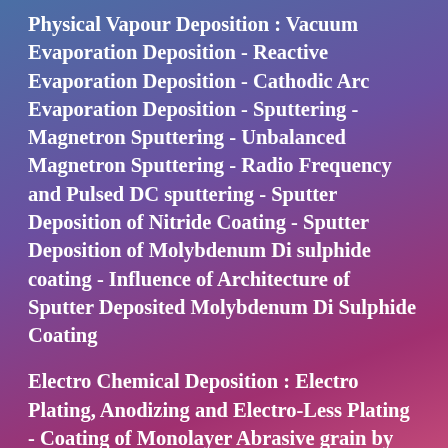Physical Vapour Deposition : Vacuum Evaporation Deposition - Reactive Evaporation Deposition - Cathodic Arc Evaporation Deposition - Sputtering - Magnetron Sputtering - Unbalanced Magnetron Sputtering - Radio Frequency and Pulsed DC sputtering - Sputter Deposition of Nitride Coating - Sputter Deposition of Molybdenum Di sulphide coating - Influence of Architecture of Sputter Deposited Molybdenum Di Sulphide Coating
Electro Chemical Deposition : Electro Plating, Anodizing and Electro-Less Plating - Coating of Monolayer Abrasive grain by Electro Plating
Surface Coating by Wetting : Mechanism of Wetting - Coating on Ceramics by Wetting - Coating of Monolayer Abrasive grain by Wetting
Application of Surface Coating : Coating on Abrasive grain
Thermal Spray Process : Combustion Spray Process -